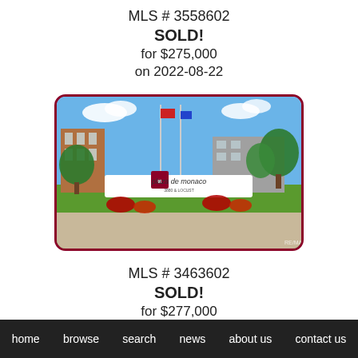MLS # 3558602
SOLD!
for $275,000
on 2022-08-22
[Figure (photo): Exterior photo of Plaza de Monaco condominium building with landscaped entrance sign and flagpoles]
MLS # 3463602
SOLD!
for $277,000
home  browse  search  news  about us  contact us